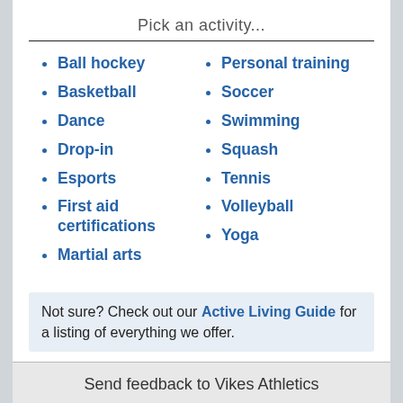Pick an activity...
Ball hockey
Basketball
Dance
Drop-in
Esports
First aid certifications
Martial arts
Personal training
Soccer
Swimming
Squash
Tennis
Volleyball
Yoga
Not sure? Check out our Active Living Guide for a listing of everything we offer.
Send feedback to Vikes Athletics